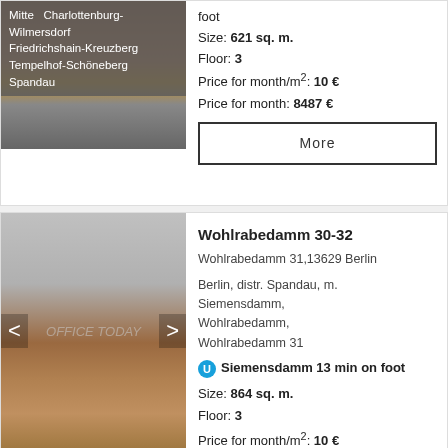[Figure (photo): Office building exterior photo with district filter overlay showing Mitte, Charlottenburg-Wilmersdorf, Friedrichshain-Kreuzberg, Tempelhof-Schöneberg, Spandau. Counter shows 1/17.]
foot
Size: 621 sq. m.
Floor: 3
Price for month/m²: 10 €
Price for month: 8487 €
More
[Figure (photo): Office building exterior photo for Wohlrabedamm 30-32. Navigation arrows visible. Watermark text OFFICE TODAY.]
Wohlrabedamm 30-32
Wohlrabedamm 31,13629 Berlin
Berlin, distr. Spandau, m. Siemensdamm, Wohlrabedamm, Wohlrabedamm 31
Siemensdamm 13 min on foot
Size: 864 sq. m.
Floor: 3
Price for month/m²: 10 €